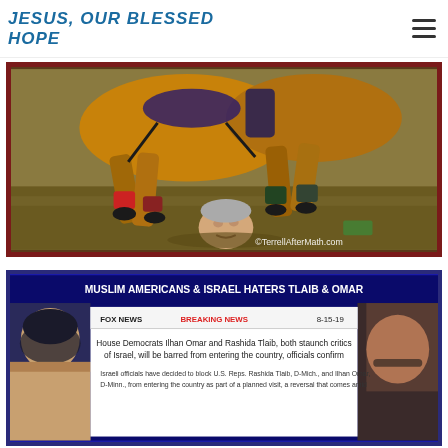JESUS, OUR BLESSED HOPE
[Figure (illustration): Painting of horses trampling a person's head. Copyright watermark: ©TerrellAfterMath.com]
[Figure (screenshot): Fox News Breaking News screenshot dated 8-15-19 with headline: House Democrats Ilhan Omar and Rashida Tlaib, both staunch critics of Israel, will be barred from entering the country, officials confirm. Banner text: MUSLIM AMERICANS & ISRAEL HATERS TLAIB & OMAR. Photos of two women on either side.]